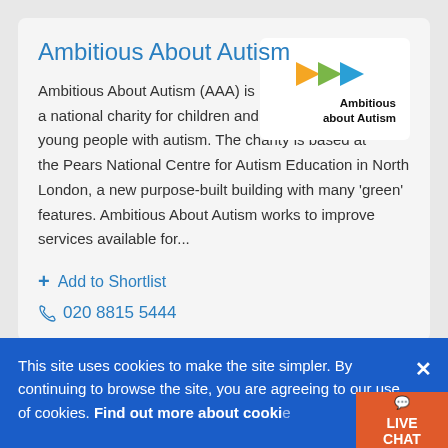Ambitious About Autism
[Figure (logo): Ambitious About Autism logo with three colored arrows (orange, green, blue) pointing right, and text 'Ambitious about Autism' below]
Ambitious About Autism (AAA) is a national charity for children and young people with autism. The charity is based at the Pears National Centre for Autism Education in North London, a new purpose-built building with many 'green' features. Ambitious About Autism works to improve services available for...
+ Add to Shortlist
020 8815 5444
This site uses cookies to make the site simpler. By continuing to browse the site, you are agreeing to our use of cookies. Find out more about cookies